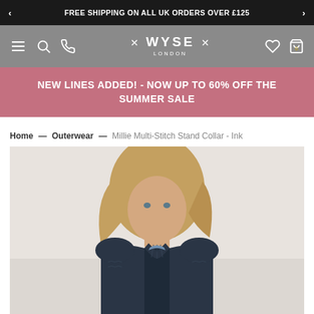FREE SHIPPING ON ALL UK ORDERS OVER £125
[Figure (screenshot): WYSE London website navigation bar with hamburger menu, search, phone icons on left, WYSE LONDON logo in center, heart and bag icons on right, on grey background]
NEW LINES ADDED! - NOW UP TO 60% OFF THE SUMMER SALE
Home — Outerwear — Millie Multi-Stitch Stand Collar - Ink
[Figure (photo): Product photo of a woman with blonde hair wearing a dark navy/ink coloured Millie Multi-Stitch Stand Collar jacket, photographed against a light background]